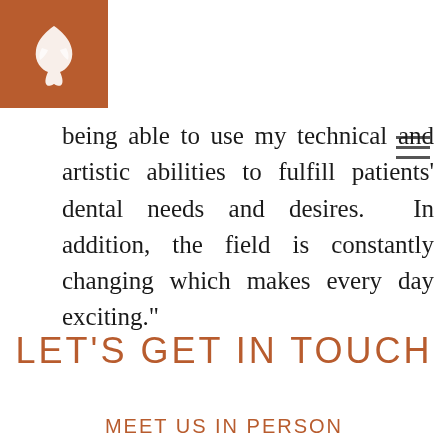[Logo and navigation header]
being able to use my technical and artistic abilities to fulfill patients' dental needs and desires.  In addition, the field is constantly changing which makes every day exciting."
LET'S GET IN TOUCH
MEET US IN PERSON